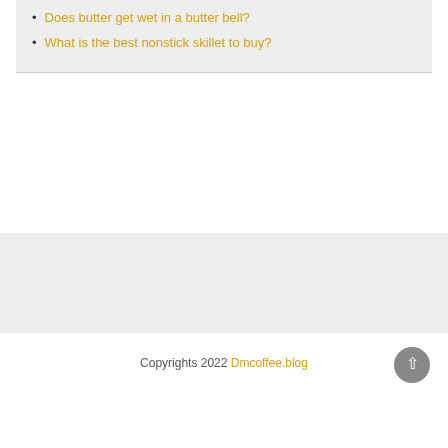Does butter get wet in a butter bell?
What is the best nonstick skillet to buy?
Copyrights 2022 Dmcoffee.blog